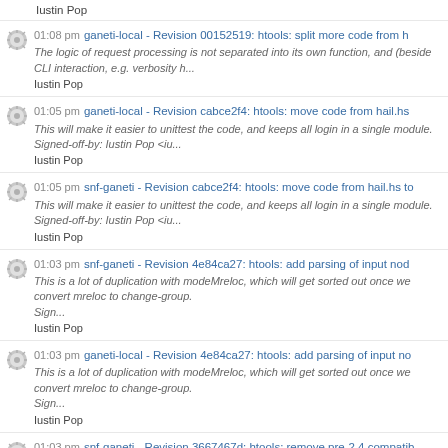Iustin Pop
01:08 pm ganeti-local - Revision 00152519: htools: split more code from h...
The logic of request processing is not separated into its own function, and (beside CLI interaction, e.g. verbosity h...
Iustin Pop
01:05 pm ganeti-local - Revision cabce2f4: htools: move code from hail.hs...
This will make it easier to unittest the code, and keeps all login in a single module.
Signed-off-by: Iustin Pop <iu...
Iustin Pop
01:05 pm snf-ganeti - Revision cabce2f4: htools: move code from hail.hs to...
This will make it easier to unittest the code, and keeps all login in a single module.
Signed-off-by: Iustin Pop <iu...
Iustin Pop
01:03 pm snf-ganeti - Revision 4e84ca27: htools: add parsing of input nod...
This is a lot of duplication with modeMreloc, which will get sorted out once we convert mreloc to change-group.
Sign...
Iustin Pop
01:03 pm ganeti-local - Revision 4e84ca27: htools: add parsing of input no...
This is a lot of duplication with modeMreloc, which will get sorted out once we convert mreloc to change-group.
Sign...
Iustin Pop
01:03 pm snf-ganeti - Revision 3667467d: htools: remove pre-2.4 compatib...
This was potentially hiding issues in the group query, so let's remove it since we're now bound to the current Ganeti...
Iustin Pop